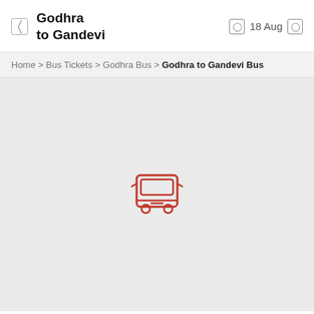Godhra to Gandevi | 18 Aug
Home > Bus Tickets > Godhra Bus > Godhra to Gandevi Bus
[Figure (illustration): Bus front-view icon in red outline style, centered on a light gray background]